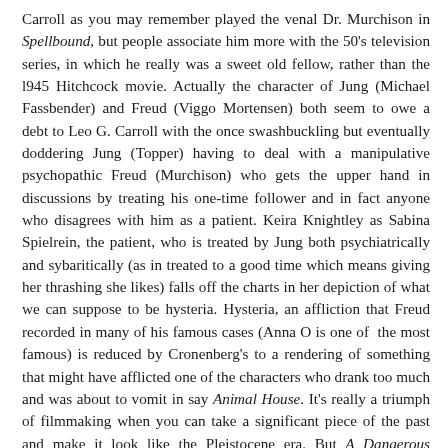Carroll as you may remember played the venal Dr. Murchison in Spellbound, but people associate him more with the 50's television series, in which he really was a sweet old fellow, rather than the l945 Hitchcock movie. Actually the character of Jung (Michael Fassbender) and Freud (Viggo Mortensen) both seem to owe a debt to Leo G. Carroll with the once swashbuckling but eventually doddering Jung (Topper) having to deal with a manipulative psychopathic Freud (Murchison) who gets the upper hand in discussions by treating his one-time follower and in fact anyone who disagrees with him as a patient. Keira Knightley as Sabina Spielrein, the patient, who is treated by Jung both psychiatrically and sybaritically (as in treated to a good time which means giving her thrashing she likes) falls off the charts in her depiction of what we can suppose to be hysteria. Hysteria, an affliction that Freud recorded in many of his famous cases (Anna O is one of the most famous) is reduced by Cronenberg's to a rendering of something that might have afflicted one of the characters who drank too much and was about to vomit in say Animal House. It's really a triumph of filmmaking when you can take a significant piece of the past and make it look like the Pleistocene era. But A Dangerous Method is not just a period piece, its success comes from taking major themes and discussions like that of libido, the